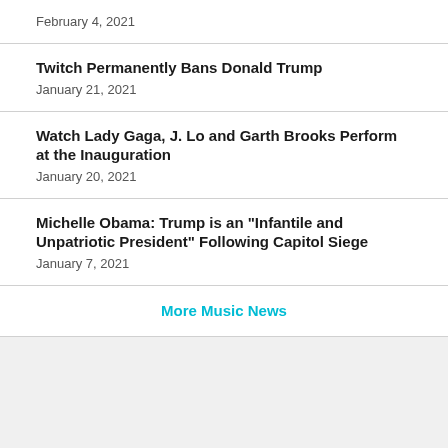February 4, 2021
Twitch Permanently Bans Donald Trump
January 21, 2021
Watch Lady Gaga, J. Lo and Garth Brooks Perform at the Inauguration
January 20, 2021
Michelle Obama: Trump is an "Infantile and Unpatriotic President" Following Capitol Siege
January 7, 2021
More Music News